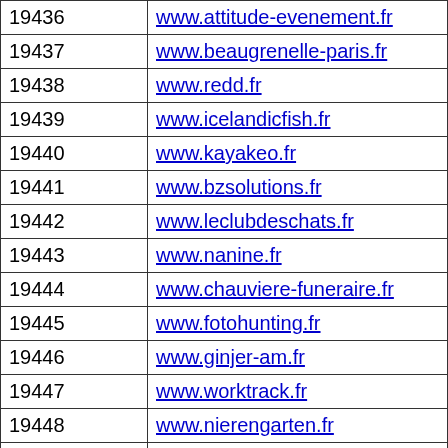| ID | URL |
| --- | --- |
| 19436 | www.attitude-evenement.fr |
| 19437 | www.beaugrenelle-paris.fr |
| 19438 | www.redd.fr |
| 19439 | www.icelandicfish.fr |
| 19440 | www.kayakeo.fr |
| 19441 | www.bzsolutions.fr |
| 19442 | www.leclubdeschats.fr |
| 19443 | www.nanine.fr |
| 19444 | www.chauviere-funeraire.fr |
| 19445 | www.fotohunting.fr |
| 19446 | www.ginjer-am.fr |
| 19447 | www.worktrack.fr |
| 19448 | www.nierengarten.fr |
| 19449 | www.plaques-transit.fr |
| 19450 | www.destinationcotedopale.fr |
| 19451 | www.bads.fr |